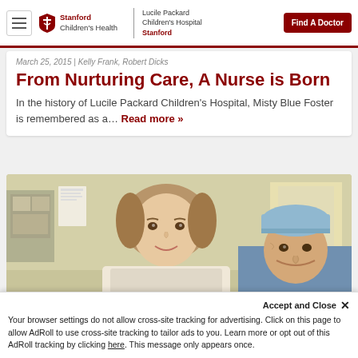Stanford Children's Health | Lucile Packard Children's Hospital Stanford | Find A Doctor
March 25, 2015 | Kelly Frank, Robert Dicks
From Nurturing Care, A Nurse is Born
In the history of Lucile Packard Children's Hospital, Misty Blue Foster is remembered as a... Read more »
[Figure (photo): A young girl and a male healthcare professional wearing a surgical cap smiling together in a hospital setting]
Accept and Close ×
Your browser settings do not allow cross-site tracking for advertising. Click on this page to allow AdRoll to use cross-site tracking to tailor ads to you. Learn more or opt out of this AdRoll tracking by clicking here. This message only appears once.